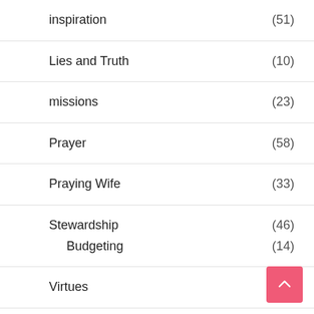inspiration (51)
Lies and Truth (10)
missions (23)
Prayer (58)
Praying Wife (33)
Stewardship (46)
Budgeting (14)
Virtues (7)
Critical Thinking (27)
Family (32)